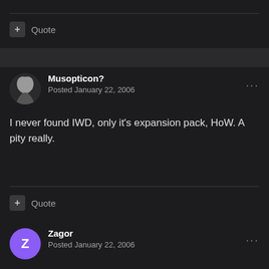+ Quote
Musopticon?
Posted January 22, 2006
I never found IWD, only it's expansion pack, HoW. A pity really.
+ Quote
Zagor
Posted January 22, 2006